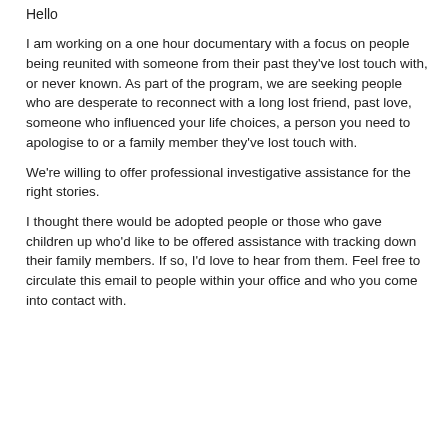Hello
I am working on a one hour documentary with a focus on people being reunited with someone from their past they've lost touch with, or never known.  As part of the program, we are seeking people who are desperate to reconnect with a long lost friend, past love, someone who influenced your life choices, a person you need to apologise to or a family member they've lost touch with.
We're willing to offer professional investigative assistance for the right stories.
I thought there would be adopted people or those who gave children up who'd like to be offered assistance with tracking down their family members.  If so, I'd love to hear from them.  Feel free to circulate this email to people within your office and who you come into contact with.